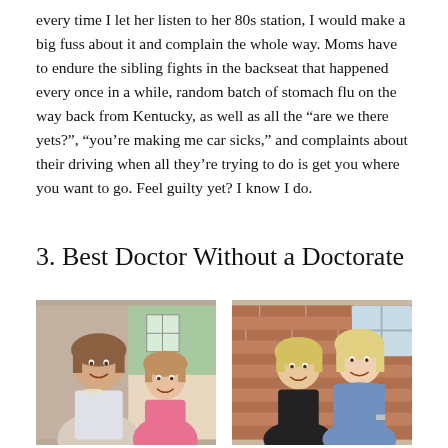every time I let her listen to her 80s station, I would make a big fuss about it and complain the whole way. Moms have to endure the sibling fights in the backseat that happened every once in a while, random batch of stomach flu on the way back from Kentucky, as well as all the “are we there yets?”, “you’re making me car sicks,” and complaints about their driving when all they’re trying to do is get you where you want to go. Feel guilty yet? I know I do.
3. Best Doctor Without a Doctorate
[Figure (photo): Two photos side by side: left photo shows a mother and young daughter smiling together indoors; right photo shows a mother and teenage/adult daughter standing together outdoors in front of a brick wall.]